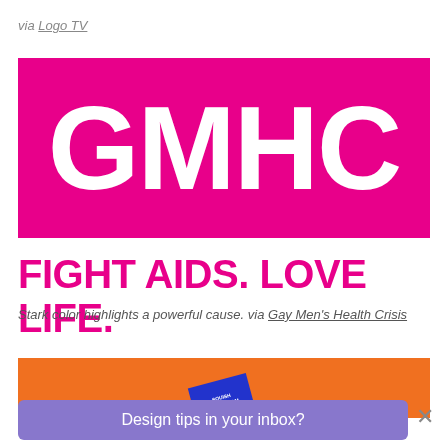via Logo TV
[Figure (logo): GMHC logo — white bold text 'GMHC' on a bright magenta/pink background rectangle]
FIGHT AIDS. LOVE LIFE.
Stark color highlights a powerful cause. via Gay Men's Health Crisis
[Figure (photo): Orange banner with a small blue card/booklet partially visible, tilted at an angle]
Design tips in your inbox?